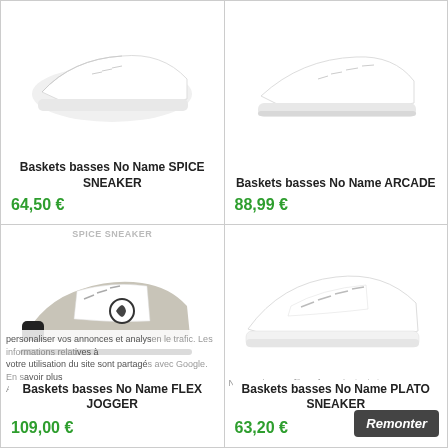[Figure (photo): White sneaker product photo - No Name SPICE SNEAKER]
Baskets basses No Name SPICE SNEAKER
64,50 €
[Figure (photo): White sneaker product photo - No Name ARCADE]
Baskets basses No Name ARCADE
88,99 €
[Figure (photo): Grey/white retro jogger sneaker - No Name FLEX JOGGER]
SPICE SNEAKER
Baskets basses No Name FLEX JOGGER
109,00 €
[Figure (photo): White platform sneaker - No Name PLATO SNEAKER]
Baskets basses No Name PLATO SNEAKER
63,20 €
Nos partenaires et nous utilisons des cookies, du stockage local et des technologies similaires pour personnaliser vos annonces et analyser le trafic. Les informations relatives à votre utilisation du site sont partagées avec Google. En savoir plus.
Accepter l'utilisation des cookies En savoir plus